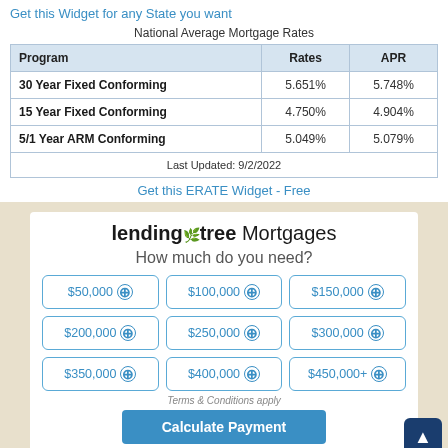Get this Widget for any State you want
National Average Mortgage Rates
| Program | Rates | APR |
| --- | --- | --- |
| 30 Year Fixed Conforming | 5.651% | 5.748% |
| 15 Year Fixed Conforming | 4.750% | 4.904% |
| 5/1 Year ARM Conforming | 5.049% | 5.079% |
| Last Updated: 9/2/2022 |  |  |
Get this ERATE Widget - Free
[Figure (screenshot): LendingTree Mortgages widget with 'How much do you need?' prompt and buttons for $50,000, $100,000, $150,000, $200,000, $250,000, $300,000, $350,000, $400,000, $450,000+, plus Calculate Payment button and Terms & Conditions note.]